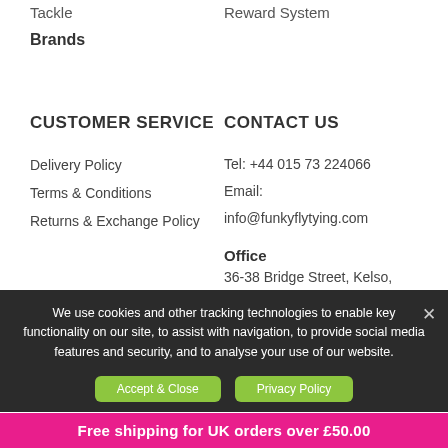Tackle
Brands
Reward System
CUSTOMER SERVICE
CONTACT US
Delivery Policy
Terms & Conditions
Returns & Exchange Policy
Tel: +44 015 73 224066
Email: info@funkyflytying.com
Office
36-38 Bridge Street, Kelso, UK, TD5 7JD
We use cookies and other tracking technologies to enable key functionality on our site, to assist with navigation, to provide social media features and security, and to analyse your use of our website.
Accept & Close
Privacy Policy
Free shipping for UK orders over £50.00